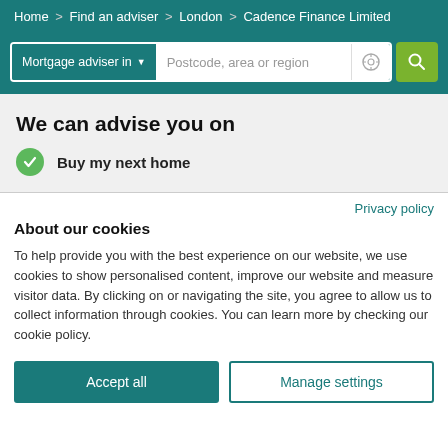Home > Find an adviser > London > Cadence Finance Limited
[Figure (screenshot): Search bar with 'Mortgage adviser in' dropdown and 'Postcode, area or region' input field with location icon and green search button]
We can advise you on
Buy my next home
Privacy policy
About our cookies
To help provide you with the best experience on our website, we use cookies to show personalised content, improve our website and measure visitor data. By clicking on or navigating the site, you agree to allow us to collect information through cookies. You can learn more by checking our cookie policy.
Accept all
Manage settings